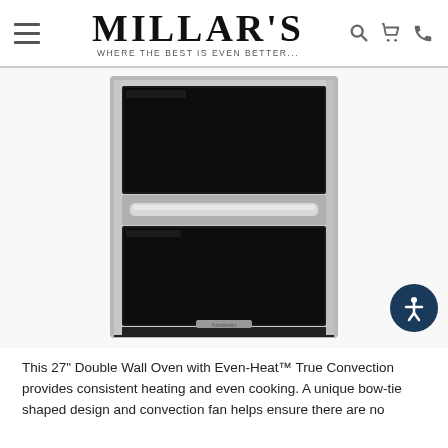MILLAR'S — WHERE THE BEST IS EVEN BETTER...
[Figure (photo): KitchenAid 27" Double Wall Oven with two oven cavities visible through dark glass doors, stainless steel finish, handle across the middle section, KitchenAid logo at bottom center.]
This 27" Double Wall Oven with Even-Heat™ True Convection provides consistent heating and even cooking. A unique bow-tie shaped design and convection fan helps ensure there are no